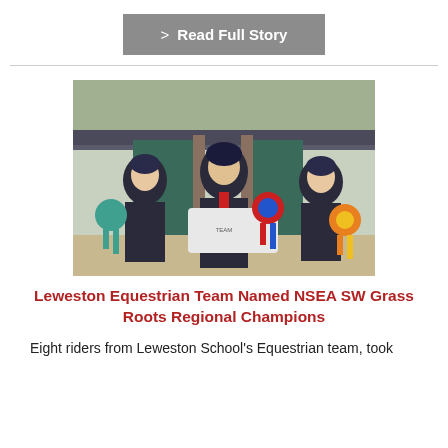> Read Full Story
[Figure (photo): Three young equestrian riders in helmets and jackets standing together holding rosettes and a championship rug, posing in front of stables.]
Leweston Equestrian Team Named NSEA SW Grass Roots Regional Champions
Eight riders from Leweston School's Equestrian team, took